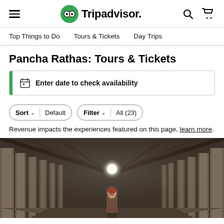Tripadvisor navigation header with hamburger menu, Tripadvisor logo, search and cart icons
Top Things to Do  Tours & Tickets  Day Trips
Pancha Rathas: Tours & Tickets
Enter date to check availability
Sort  Default  Filter  All (23)
Revenue impacts the experiences featured on this page, learn more.
[Figure (photo): Interior of Pancha Rathas temple showing a long corridor with stone columns receding into the distance with bright lights and a person standing in the corridor]